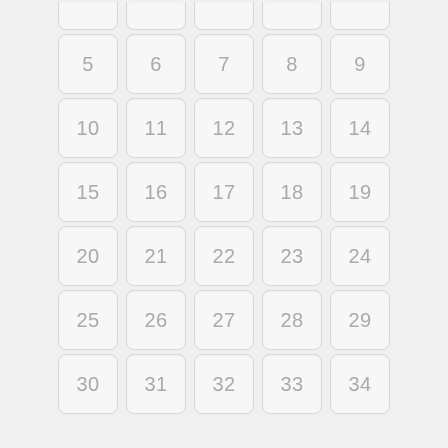[Figure (other): Grid of numbered square tiles. Top row shows partial tiles (1-5 cut off at top). Subsequent rows show tiles numbered 5-9, 10-14, 15-19, 20-24, 25-29, 30-34. Each tile is a light gray rounded square with a number centered inside.]